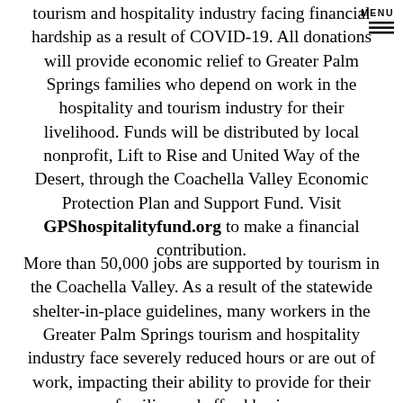tourism and hospitality industry facing financial hardship as a result of COVID-19. All donations will provide economic relief to Greater Palm Springs families who depend on work in the hospitality and tourism industry for their livelihood. Funds will be distributed by local nonprofit, Lift to Rise and United Way of the Desert, through the Coachella Valley Economic Protection Plan and Support Fund. Visit GPShospitalityfund.org to make a financial contribution.
More than 50,000 jobs are supported by tourism in the Coachella Valley. As a result of the statewide shelter-in-place guidelines, many workers in the Greater Palm Springs tourism and hospitality industry face severely reduced hours or are out of work, impacting their ability to provide for their families and afford basic